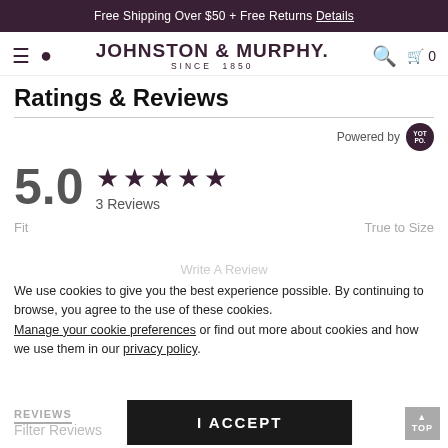Free Shipping Over $50 + Free Returns Details
[Figure (logo): Johnston & Murphy logo with hamburger menu, location pin, search icon, and cart icon]
Ratings & Reviews
Powered by Yotpo
5.0 ★★★★★ 3 Reviews
Fit   True to Size
We use cookies to give you the best experience possible. By continuing to browse, you agree to the use of these cookies. Manage your cookie preferences or find out more about cookies and how we use them in our privacy policy.
REVIEWS
I ACCEPT
Filter Reviews